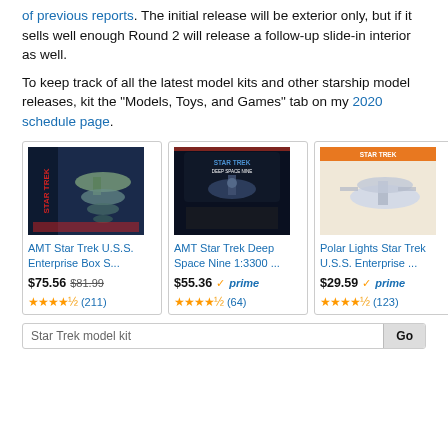of previous reports. The initial release will be exterior only, but if it sells well enough Round 2 will release a follow-up slide-in interior as well.
To keep track of all the latest model kits and other starship model releases, kit the "Models, Toys, and Games" tab on my 2020 schedule page.
[Figure (screenshot): Three Amazon product cards for Star Trek model kits: AMT Star Trek U.S.S. Enterprise Box S... ($75.56, was $81.99, 4.5 stars, 211 reviews), AMT Star Trek Deep Space Nine 1:3300 ... ($55.36, Prime, 4.5 stars, 64 reviews), Polar Lights Star Trek U.S.S. Enterprise ... ($29.59, Prime, 4.5 stars, 123 reviews)]
Star Trek model kit